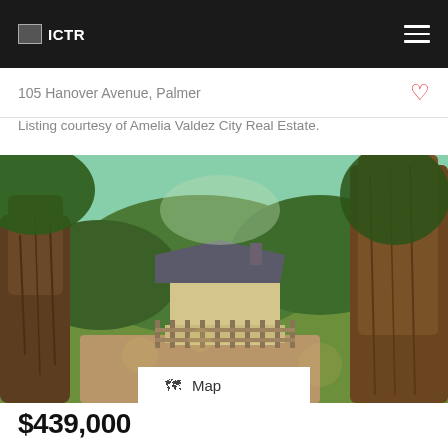ICTR
105 Hanover Avenue, Palmer
Listing courtesy of Amelia Valdez City Real Estate.
[Figure (photo): Outdoor photo of a country property with large trees in foreground, a white/yellow house with dark roof visible in background, wooden fence, green lawn, and dappled sunlight. A 'Map' button overlays the bottom-center of the image.]
$439,000